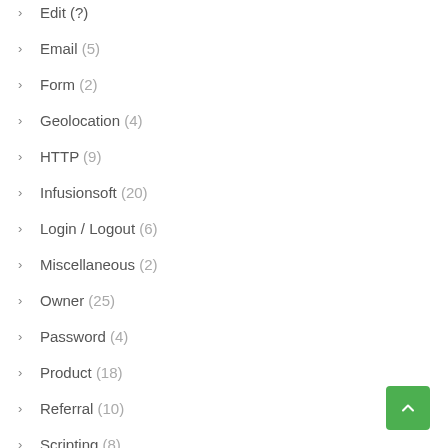Edit (?)
Email (5)
Form (2)
Geolocation (4)
HTTP (9)
Infusionsoft (20)
Login / Logout (6)
Miscellaneous (2)
Owner (25)
Password (4)
Product (18)
Referral (10)
Scripting (8)
Sessions and Cookies (10)
Subscription (17)